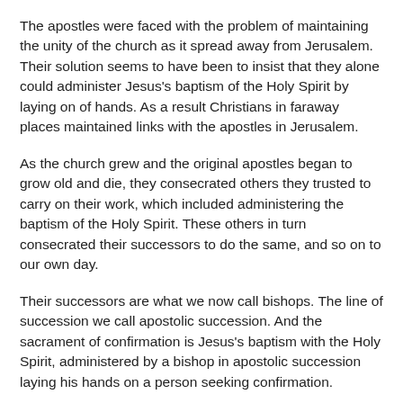The apostles were faced with the problem of maintaining the unity of the church as it spread away from Jerusalem. Their solution seems to have been to insist that they alone could administer Jesus's baptism of the Holy Spirit by laying on of hands. As a result Christians in faraway places maintained links with the apostles in Jerusalem.
As the church grew and the original apostles began to grow old and die, they consecrated others they trusted to carry on their work, which included administering the baptism of the Holy Spirit. These others in turn consecrated their successors to do the same, and so on to our own day.
Their successors are what we now call bishops. The line of succession we call apostolic succession. And the sacrament of confirmation is Jesus's baptism with the Holy Spirit, administered by a bishop in apostolic succession laying his hands on a person seeking confirmation.
So to conclude, as we celebrate the baptism of Jesus: First, let us give thanks for the insight we receive into the nature of God as Trinity from the epiphany of Father, Son…